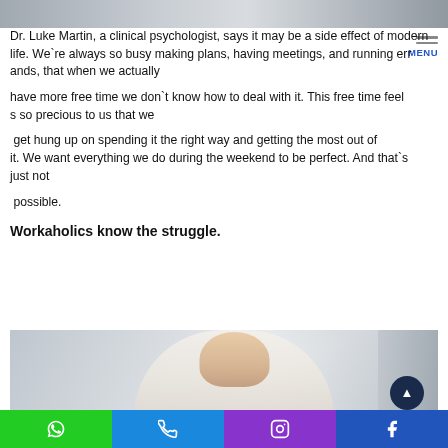[Figure (photo): Top cropped photo of people, faded/blurred]
Dr. Luke Martin, a clinical psychologist, says it may be a side effect of modern life. We're always so busy making plans, having meetings, and running errands, that when we actually

have more free time we don't know how to deal with it. This free time feels so precious to us that we

 get hung up on spending it the right way and getting the most out of it. We want everything we do during the weekend to be perfect. And that's just not

 possible.
Workaholics know the struggle.
[Figure (photo): Woman yawning or stressed, sitting at desk, blurred office background]
WhatsApp | Phone | Instagram | Facebook